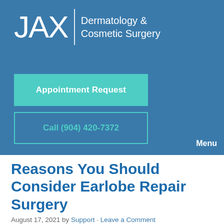JAX Dermatology & Cosmetic Surgery
Appointment Request
Call (904) 420-7372
Menu
Reasons You Should Consider Earlobe Repair Surgery
August 17, 2021 by Support · Leave a Comment